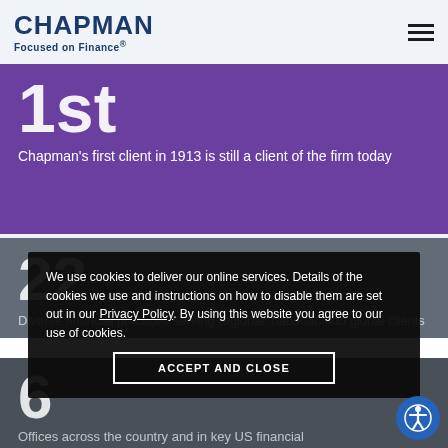CHAPMAN Focused on Finance®
1st
Chapman's first client in 1913 is still a client of the firm today
22
Diverse financial practices serving regional, national, and global clients
6
Offices across the country and in key US financial
We use cookies to deliver our online services. Details of the cookies we use and instructions on how to disable them are set out in our Privacy Policy. By using this website you agree to our use of cookies.
ACCEPT AND CLOSE